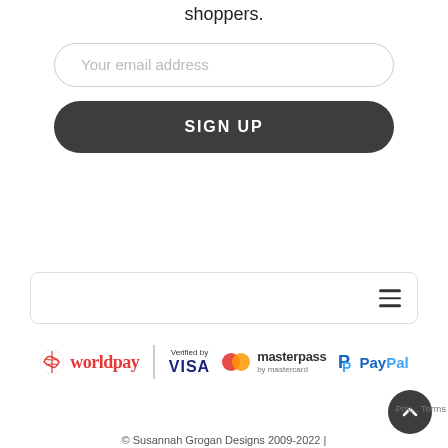shoppers.
Your email address
SIGN UP
[Figure (other): Navigation bar with hamburger menu icon]
[Figure (other): Payment logos row: worldpay, Verified by VISA, masterpass by mastercard, PayPal]
© Susannah Grogan Designs 2009-2022 |